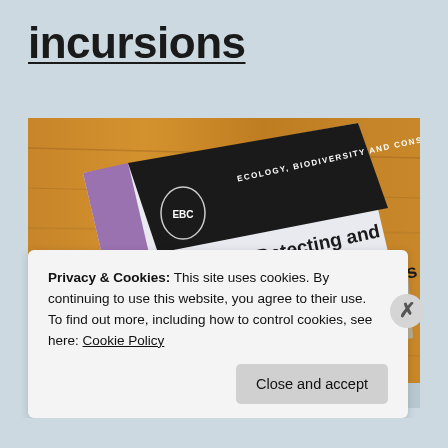incursions
[Figure (photo): A photo of a book titled 'Detecting and Responding to Alien Plant Incursions' from the Ecology, Biodiversity and Conservation (EBC) series, placed at an angle on a wooden surface.]
Privacy & Cookies: This site uses cookies. By continuing to use this website, you agree to their use.
To find out more, including how to control cookies, see here: Cookie Policy
Close and accept